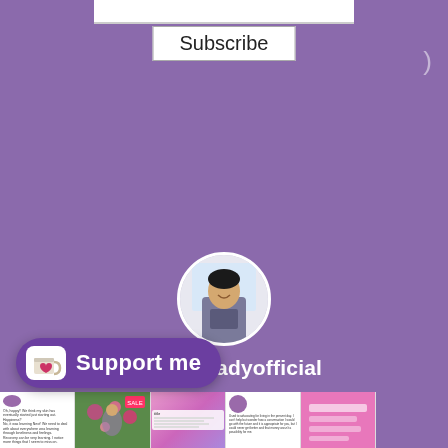[Figure (screenshot): YouTube-style subscribe button bar at top]
Subscribe
[Figure (photo): Profile photo of a woman in a circular crop, centered on purple background]
@littlestladyofficial
[Figure (screenshot): Grid of social media post thumbnails showing text posts and photos with purple/pink aesthetic]
[Figure (infographic): Ko-fi Support me button with cup icon at bottom left]